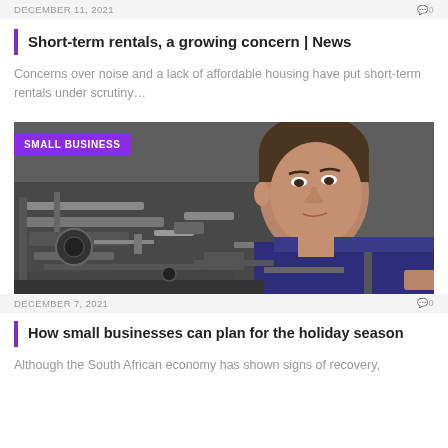DECEMBER 11, 2021   💬 0
Short-term rentals, a growing concern | News
Concerns over noise and a lack of affordable housing have put short-term rentals under scrutiny…
[Figure (photo): Man in dark blue shirt closely examining industrial machinery in a workshop, with a purple 'SMALL BUSINESS' label overlay in top-left corner]
DECEMBER 7, 2021   💬 0
How small businesses can plan for the holiday season
Although the South African economy has shown signs of recovery,